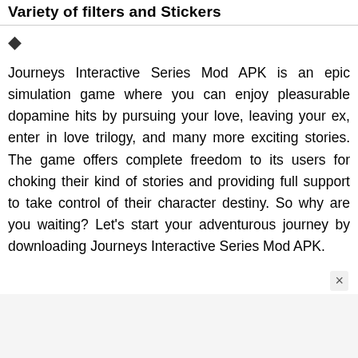Variety of filters and Stickers
❖
Journeys Interactive Series Mod APK is an epic simulation game where you can enjoy pleasurable dopamine hits by pursuing your love, leaving your ex, enter in love trilogy, and many more exciting stories. The game offers complete freedom to its users for choking their kind of stories and providing full support to take control of their character destiny. So why are you waiting? Let's start your adventurous journey by downloading Journeys Interactive Series Mod APK.